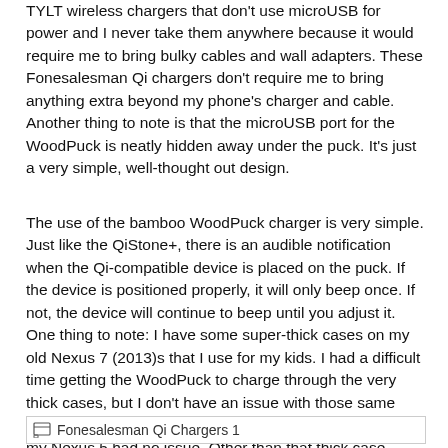TYLT wireless chargers that don't use microUSB for power and I never take them anywhere because it would require me to bring bulky cables and wall adapters. These Fonesalesman Qi chargers don't require me to bring anything extra beyond my phone's charger and cable. Another thing to note is that the microUSB port for the WoodPuck is neatly hidden away under the puck. It's just a very simple, well-thought out design.
The use of the bamboo WoodPuck charger is very simple. Just like the QiStone+, there is an audible notification when the Qi-compatible device is placed on the puck. If the device is positioned properly, it will only beep once. If not, the device will continue to beep until you adjust it. One thing to note: I have some super-thick cases on my old Nexus 7 (2013)s that I use for my kids. I had a difficult time getting the WoodPuck to charge through the very thick cases, but I don't have an issue with those same cases with the TYLT VU. Thinner cases that I have with my Nexus 5 had no issue. Other than that thick case problem, I had no issues with using the WoodPuck.
Fonesalesman Qi Chargers 1